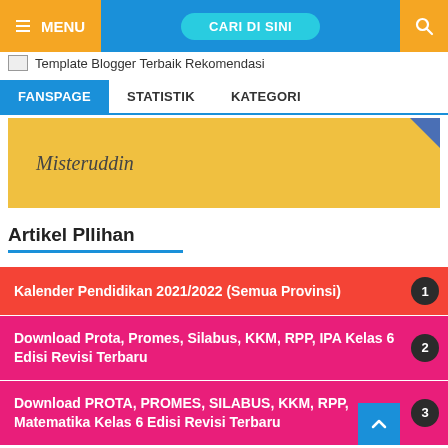MENU  CARI DI SINI  🔍
[Figure (screenshot): Broken image placeholder with text: Template Blogger Terbaik Rekomendasi]
FANSPAGE  STATISTIK  KATEGORI
Misteruddin
Artikel Pilihan
1 Kalender Pendidikan 2021/2022 (Semua Provinsi)
2 Download Prota, Promes, Silabus, KKM, RPP, IPA Kelas 6 Edisi Revisi Terbaru
3 Download PROTA, PROMES, SILABUS, KKM, RPP, Matematika Kelas 6 Edisi Revisi Terbaru